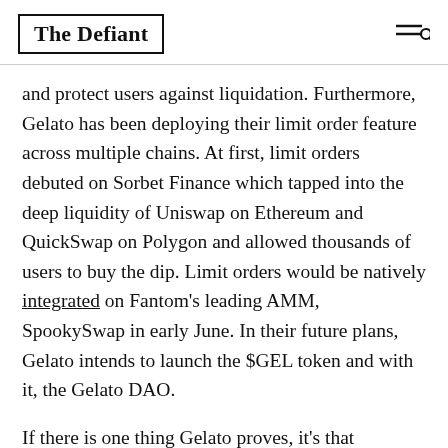The Defiant
and protect users against liquidation. Furthermore, Gelato has been deploying their limit order feature across multiple chains. At first, limit orders debuted on Sorbet Finance which tapped into the deep liquidity of Uniswap on Ethereum and QuickSwap on Polygon and allowed thousands of users to buy the dip. Limit orders would be natively integrated on Fantom’s leading AMM, SpookySwap in early June. In their future plans, Gelato intends to launch the $GEL token and with it, the Gelato DAO.
If there is one thing Gelato proves, it’s that automation cannot be pigeonholed into one use-case. Automation covers a plethora of uses across